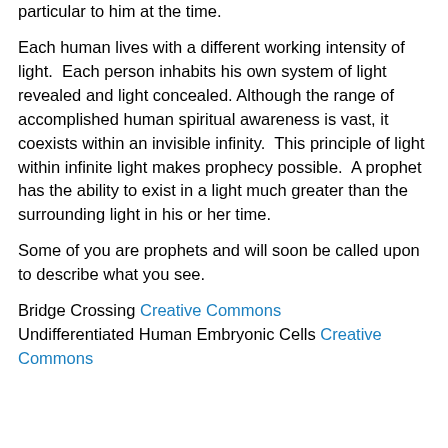particular to him at the time.
Each human lives with a different working intensity of light. Each person inhabits his own system of light revealed and light concealed. Although the range of accomplished human spiritual awareness is vast, it coexists within an invisible infinity. This principle of light within infinite light makes prophecy possible. A prophet has the ability to exist in a light much greater than the surrounding light in his or her time.
Some of you are prophets and will soon be called upon to describe what you see.
Bridge Crossing Creative Commons
Undifferentiated Human Embryonic Cells Creative Commons